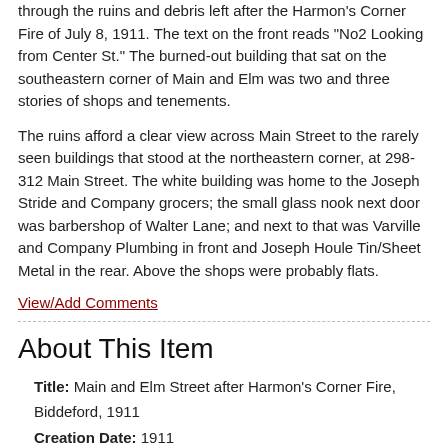through the ruins and debris left after the Harmon's Corner Fire of July 8, 1911. The text on the front reads "No2 Looking from Center St." The burned-out building that sat on the southeastern corner of Main and Elm was two and three stories of shops and tenements.
The ruins afford a clear view across Main Street to the rarely seen buildings that stood at the northeastern corner, at 298-312 Main Street. The white building was home to the Joseph Stride and Company grocers; the small glass nook next door was barbershop of Walter Lane; and next to that was Varville and Company Plumbing in front and Joseph Houle Tin/Sheet Metal in the rear. Above the shops were probably flats.
View/Add Comments
About This Item
Title: Main and Elm Street after Harmon's Corner Fire, Biddeford, 1911
Creation Date: 1911
Subject Date: 1911
Location: Biddeford, York County, ME